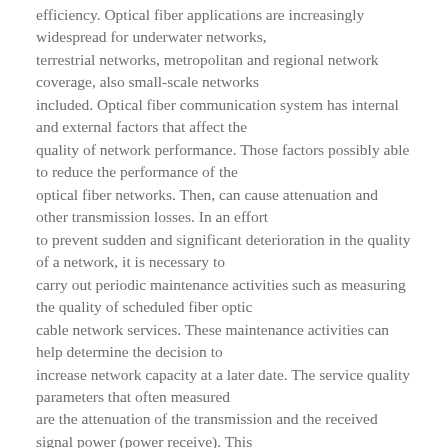efficiency. Optical fiber applications are increasingly widespread for underwater networks, terrestrial networks, metropolitan and regional network coverage, also small-scale networks included. Optical fiber communication system has internal and external factors that affect the quality of network performance. Those factors possibly able to reduce the performance of the optical fiber networks. Then, can cause attenuation and other transmission losses. In an effort to prevent sudden and significant deterioration in the quality of a network, it is necessary to carry out periodic maintenance activities such as measuring the quality of scheduled fiber optic cable network services. These maintenance activities can help determine the decision to increase network capacity at a later date. The service quality parameters that often measured are the attenuation of the transmission and the received signal power (power receive). This study examines the measurement of attenuation of the